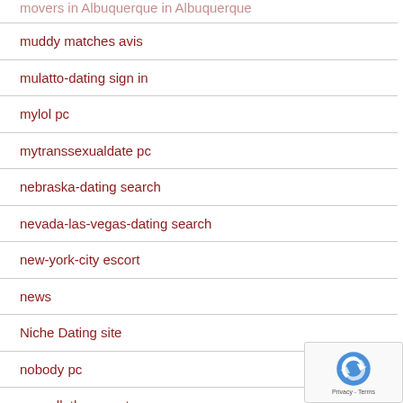movers in Albuquerque in Albuquerque
muddy matches avis
mulatto-dating sign in
mylol pc
mytranssexualdate pc
nebraska-dating search
nevada-las-vegas-dating search
new-york-city escort
news
Niche Dating site
nobody pc
norwalk the escort
nudistfriends pc